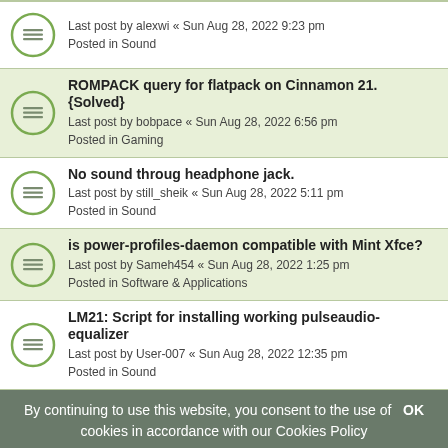Last post by alexwi « Sun Aug 28, 2022 9:23 pm
Posted in Sound
ROMPACK query for flatpack on Cinnamon 21. {Solved}
Last post by bobpace « Sun Aug 28, 2022 6:56 pm
Posted in Gaming
No sound throug headphone jack.
Last post by still_sheik « Sun Aug 28, 2022 5:11 pm
Posted in Sound
is power-profiles-daemon compatible with Mint Xfce?
Last post by Sameh454 « Sun Aug 28, 2022 1:25 pm
Posted in Software & Applications
LM21: Script for installing working pulseaudio-equalizer
Last post by User-007 « Sun Aug 28, 2022 12:35 pm
Posted in Sound
[SOLVED] Digital 5.1 mapping issues
Last post by Petro « Sun Aug 28, 2022 11:35 am
Posted in Sound
Mic does not work when using noise suppresion with pulseaudio
Last post by Wooffles « Sun Aug 28, 2022 10:04 am
Posted in Sound
Gateway SX2185-EB30 boot one in twice
Last post by soujaaR « Sun Aug 28, 2022 9:14 am
Posted in Installation & Boot
By continuing to use this website, you consent to the use of cookies in accordance with our Cookies Policy